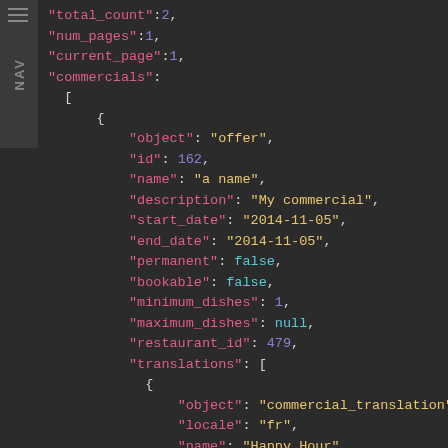[Figure (screenshot): Dark-themed code editor screenshot showing JSON response with fields: total_count, num_pages, current_page, commercials array containing an object with fields: object, id, name, description, start_date, end_date, permanent, bookable, minimum_dishes, maximum_dishes, restaurant_id, translations array with commercial_translation objects.]